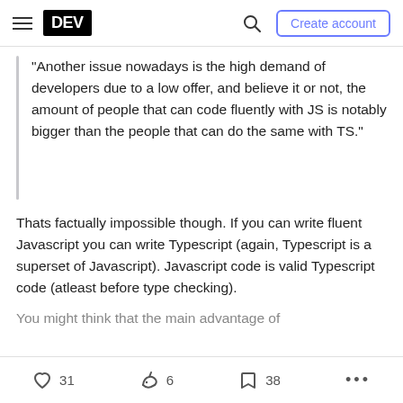DEV — Create account
"Another issue nowadays is the high demand of developers due to a low offer, and believe it or not, the amount of people that can code fluently with JS is notably bigger than the people that can do the same with TS."
Thats factually impossible though. If you can write fluent Javascript you can write Typescript (again, Typescript is a superset of Javascript). Javascript code is valid Typescript code (atleast before type checking).
You might think that the main advantage of ...
31 likes · 6 reactions · 38 bookmarks